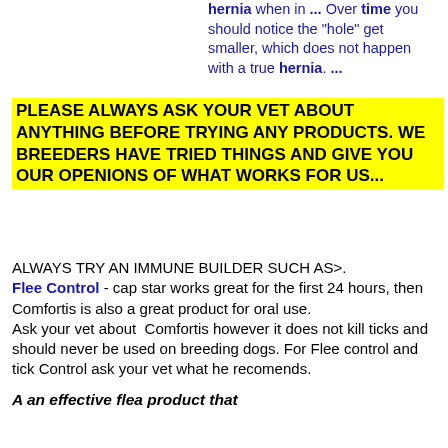hernia when in ... Over time you should notice the "hole" get smaller, which does not happen with a true hernia. ...
PLEASE ALWAYS ASK YOUR VET ABOUT ANYTHING BEFORE TRYING ANY PRODUCTS. WE BREEDERS HAVE TRIED THINGS AND GIVE YOU OUR OPENIONS OF WHAT WORKS FOR US...
ALWAYS TRY AN IMMUNE BUILDER SUCH AS>.
Flee Control - cap star works great for the first 24 hours, then Comfortis is also a great product for oral use.
Ask your vet about Comfortis however it does not kill ticks and should never be used on breeding dogs. For Flee control and tick Control ask your vet what he recomends.
A an effective flea product that